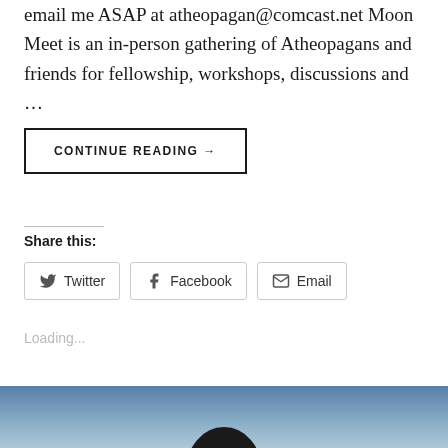email me ASAP at atheopagan@comcast.net Moon Meet is an in-person gathering of Atheopagans and friends for fellowship, workshops, discussions and …
CONTINUE READING →
Share this:
Twitter
Facebook
Email
Loading...
[Figure (photo): Bottom portion of page showing a partial silhouette of a person's head against a blue-grey gradient background]